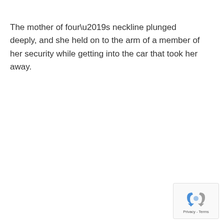The mother of four’s neckline plunged deeply, and she held on to the arm of a member of her security while getting into the car that took her away.
[Figure (logo): reCAPTCHA widget with recycling arrows icon and Privacy - Terms text]